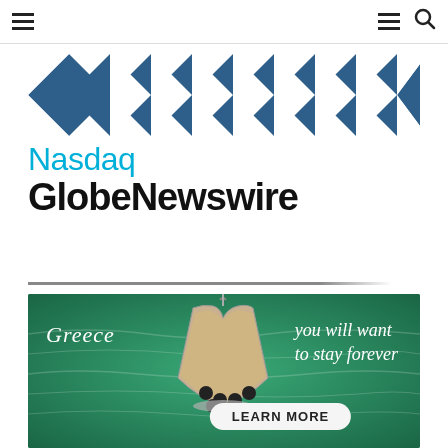Navigation bar with hamburger menu and search icon
[Figure (logo): Nasdaq GlobeNewswire logo with blue diamond/triangle pattern at top and 'Nasdaq GlobeNewswire' text below]
[Figure (photo): Advertisement banner with green water background showing a yacht bow and text 'Greece you will want to stay forever' with a LEARN MORE button]